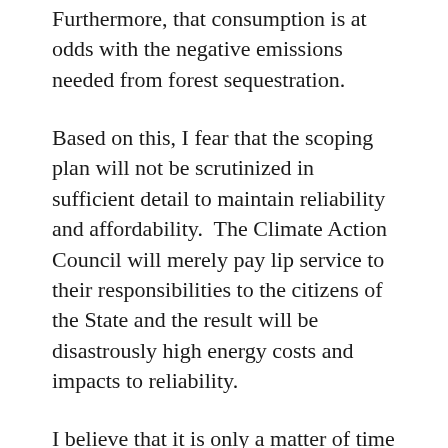Furthermore, that consumption is at odds with the negative emissions needed from forest sequestration.
Based on this, I fear that the scoping plan will not be scrutinized in sufficient detail to maintain reliability and affordability.  The Climate Action Council will merely pay lip service to their responsibilities to the citizens of the State and the result will be disastrously high energy costs and impacts to reliability.
I believe that it is only a matter of time until the Iron Law of Climate, “while people are often willing to pay some price for achieving climate objectives, that willingness has its